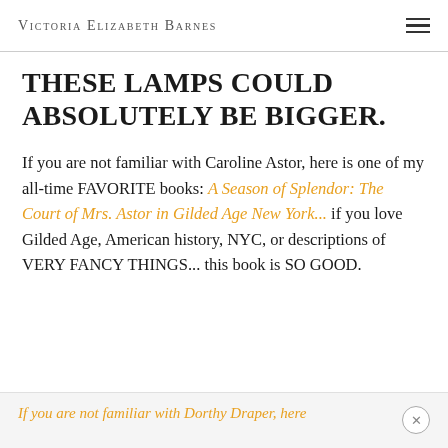Victoria Elizabeth Barnes
All dead of envy... but also in agreement that
THESE LAMPS COULD ABSOLUTELY BE BIGGER.
If you are not familiar with Caroline Astor, here is one of my all-time FAVORITE books: A Season of Splendor: The Court of Mrs. Astor in Gilded Age New York... if you love Gilded Age, American history, NYC, or descriptions of VERY FANCY THINGS... this book is SO GOOD.
If you are not familiar with Dorthy Draper, here